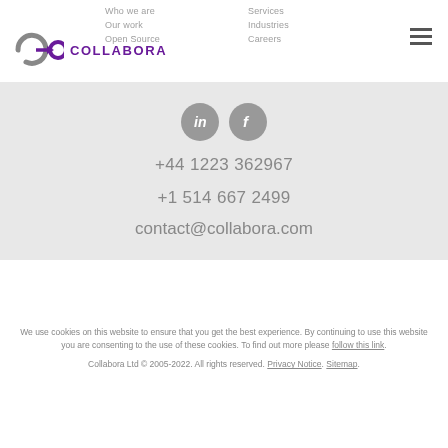[Figure (logo): Collabora logo with C->O symbol and text COLLABORA in purple]
Who we are
Services
Our work
Industries
Open Source
Careers
[Figure (infographic): LinkedIn and Facebook social media icons as gray circles with white letters]
+44 1223 362967
+1 514 667 2499
contact@collabora.com
We use cookies on this website to ensure that you get the best experience. By continuing to use this website you are consenting to the use of these cookies. To find out more please follow this link.
Collabora Ltd © 2005-2022. All rights reserved. Privacy Notice. Sitemap.